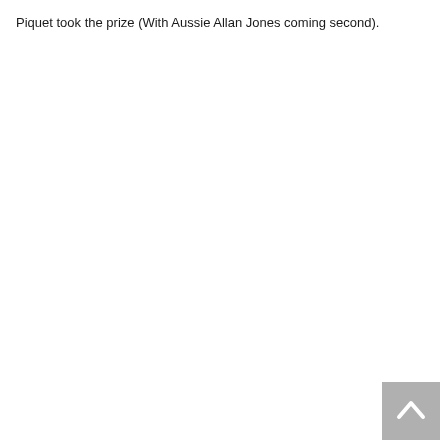Piquet took the prize (With Aussie Allan Jones coming second).
[Figure (other): Back to top button - grey square button with upward pointing chevron/arrow icon]